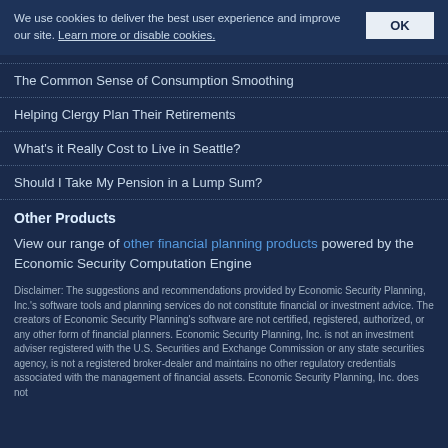We use cookies to deliver the best user experience and improve our site. Learn more or disable cookies. OK
The Common Sense of Consumption Smoothing
Helping Clergy Plan Their Retirements
What's it Really Cost to Live in Seattle?
Should I Take My Pension in a Lump Sum?
Other Products
View our range of other financial planning products powered by the Economic Security Computation Engine
Disclaimer: The suggestions and recommendations provided by Economic Security Planning, Inc.'s software tools and planning services do not constitute financial or investment advice. The creators of Economic Security Planning's software are not certified, registered, authorized, or any other form of financial planners. Economic Security Planning, Inc. is not an investment adviser registered with the U.S. Securities and Exchange Commission or any state securities agency, is not a registered broker-dealer and maintains no other regulatory credentials associated with the management of financial assets. Economic Security Planning, Inc. does not